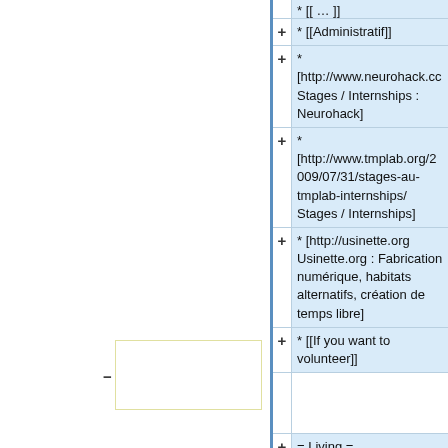* [[Administratif]]
* [http://www.neurohack.cc Stages / Internships : Neurohack]
* [http://www.tmplab.org/2009/07/31/stages-au-tmplab-internships/ Stages / Internships]
* [http://usinette.org Usinette.org : Fabrication numérique, habitats alternatifs, création de temps libre]
* [[If you want to volunteer]]
= Living =
*